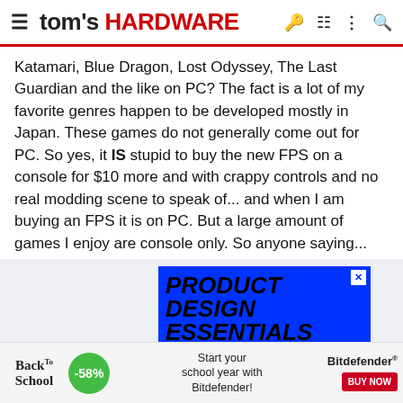tom's HARDWARE
Katamari, Blue Dragon, Lost Odyssey, The Last Guardian and the like on PC? The fact is a lot of my favorite genres happen to be developed mostly in Japan. These games do not generally come out for PC. So yes, it IS stupid to buy the new FPS on a console for $10 more and with crappy controls and no real modding scene to speak of... and when I am buying an FPS it is on PC. But a large amount of games I enjoy are console only. So anyone saying... "CONSOLE is BaLLs, PC IS THE OWNZ!!!1111", consider that not everyone is always after the next FPS, RTS, Simulator or MMO.
[Figure (screenshot): Blue advertisement banner for 'Product Design Essentials - A New Online' course]
[Figure (screenshot): Bottom banner ad for Bitdefender Back to School sale, -58% off]